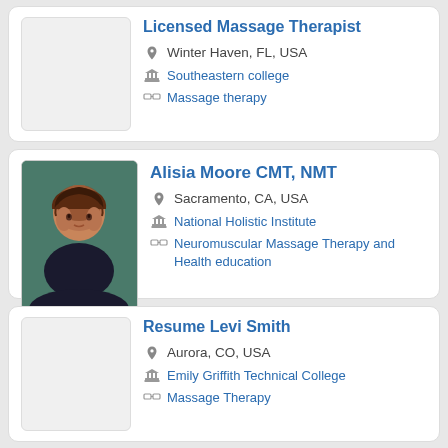[Figure (other): Profile card 1: blank photo placeholder, Licensed Massage Therapist, Winter Haven FL USA, Southeastern college, Massage therapy]
Licensed Massage Therapist
Winter Haven, FL, USA
Southeastern college
Massage therapy
[Figure (photo): Profile photo of Alisia Moore CMT, NMT — a woman with curly dark hair, smiling]
Alisia Moore CMT, NMT
Sacramento, CA, USA
National Holistic Institute
Neuromuscular Massage Therapy and Health education
[Figure (other): Profile card 3: blank photo placeholder, Resume Levi Smith, Aurora CO USA, Emily Griffith Technical College, Massage Therapy]
Resume Levi Smith
Aurora, CO, USA
Emily Griffith Technical College
Massage Therapy